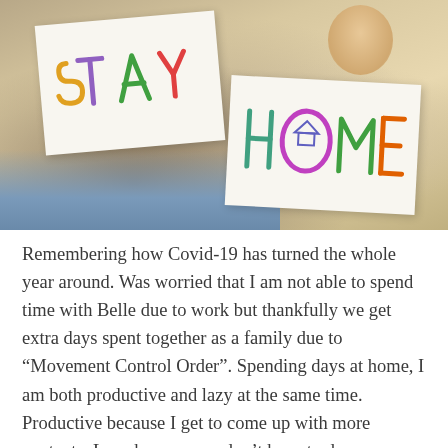[Figure (photo): A family photo showing people holding handmade signs reading 'STAY' and 'HOME' with colorful hand-drawn letters, and a baby visible in the background.]
Remembering how Covid-19 has turned the whole year around. Was worried that I am not able to spend time with Belle due to work but thankfully we get extra days spent together as a family due to “Movement Control Order”. Spending days at home, I am both productive and lazy at the same time. Productive because I get to come up with more contents. Lazy because we don’t have to dress up. Staying home is one of my best moment. Yes, I was devastated too because this whole thing has